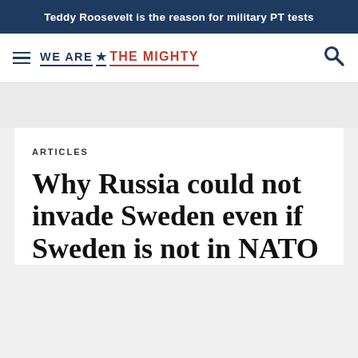Teddy Roosevelt is the reason for military PT tests
[Figure (logo): We Are The Mighty website logo with hamburger menu and search icon]
ARTICLES
Why Russia could not invade Sweden even if Sweden is not in NATO